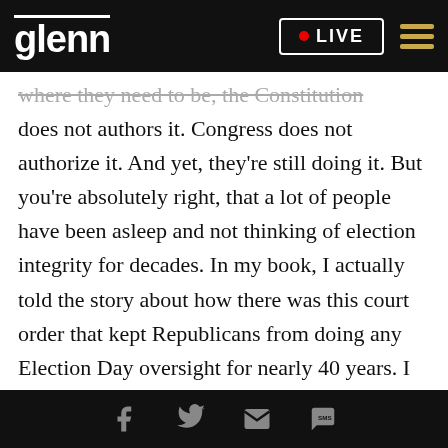glenn | LIVE
does not authors it. Congress does not authorize it. And yet, they're still doing it. But you're absolutely right, that a lot of people have been asleep and not thinking of election integrity for decades. In my book, I actually told the story about how there was this court order that kept Republicans from doing any Election Day oversight for nearly 40 years. I couldn't believe it. When I first learned about it. In the early '70s, a judge in New Jersey put them under a consent decree, where they couldn't get involved in any litigation, Election Day litigation. And for
Social share icons: Facebook, Twitter, Email, SMS